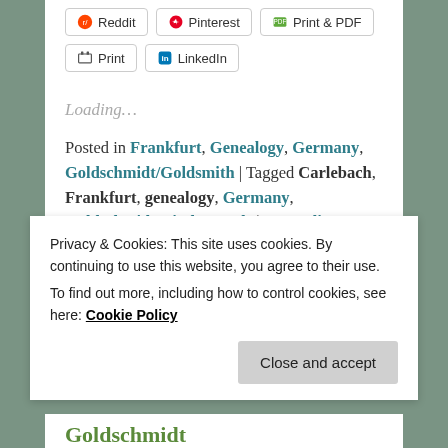Reddit | Pinterest | Print & PDF
Print | LinkedIn
Loading...
Posted in Frankfurt, Genealogy, Germany, Goldschmidt/Goldsmith | Tagged Carlebach, Frankfurt, genealogy, Germany, Goldschmidt, vital records | 13 Replies
Privacy & Cookies: This site uses cookies. By continuing to use this website, you agree to their use. To find out more, including how to control cookies, see here: Cookie Policy
Close and accept
Goldschmidt